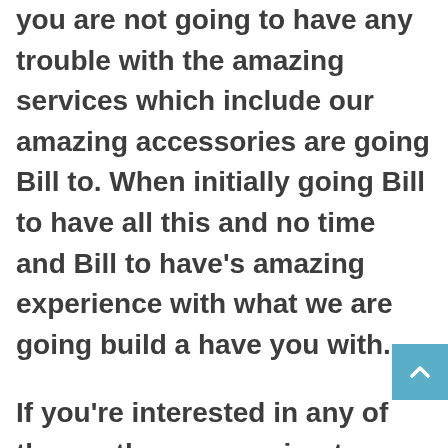you are not going to have any trouble with the amazing services which include our amazing accessories are going Bill to. When initially going Bill to have all this and no time and Bill to have's amazing experience with what we are going build a have you with.
If you're interested in any of the worth are are going to provide for you than are going Bill to website which is https://whitegloveautotulsa.com/# you the car number which is 918-806-2780. You and build we want to do for you here and you're going Bill to learn more about all the services of old. One mission you are and Bill to get all this and no time. If you're interested in any of the work to build to help